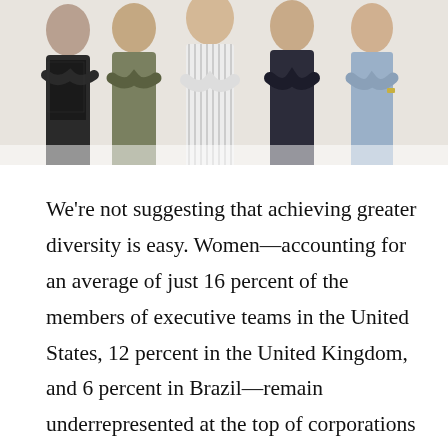[Figure (photo): Group of five business professionals standing with arms crossed, photographed from approximately chest height up against a white background.]
We're not suggesting that achieving greater diversity is easy. Women—accounting for an average of just 16 percent of the members of executive teams in the United States, 12 percent in the United Kingdom, and 6 percent in Brazil—remain underrepresented at the top of corporations globally. The United Kingdom does comparatively better in racial diversity, albeit at a low base, as 78...